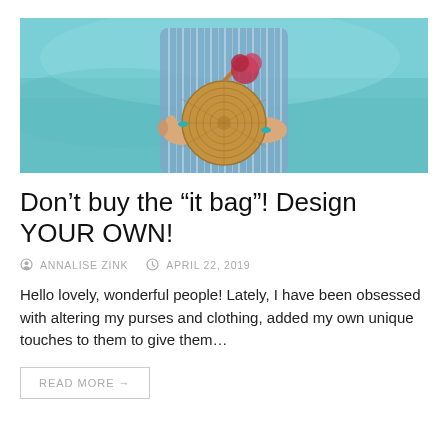[Figure (photo): A person in a blue striped outfit holding a round woven straw bag with a teal/aqua blurred background. A red flower or accessory is visible near the bag.]
Don't buy the “it bag”! Design YOUR OWN!
ⓞ ANNALISE ZINK   ⏰ APRIL 22, 2019
Hello lovely, wonderful people! Lately, I have been obsessed with altering my purses and clothing, added my own unique touches to them to give them…
READ MORE →